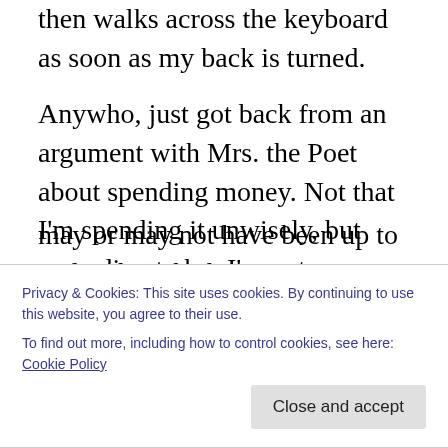then walks across the keyboard as soon as my back is turned.
Anywho, just got back from an argument with Mrs. the Poet about spending money. Not that I'm spending it unwisely, but according to her I'm not spending enough. The reason we even have window units is because way back before Dad died our central AC died first, and the reason it died was the wiring in the house has gone bad. I had an electrician look at the situation back then and part of the problem is our breaker box is no longer up to code and before any other work can be done that has to be
may or may not have been up to code when the house
Privacy & Cookies: This site uses cookies. By continuing to use this website, you agree to their use.
To find out more, including how to control cookies, see here: Cookie Policy